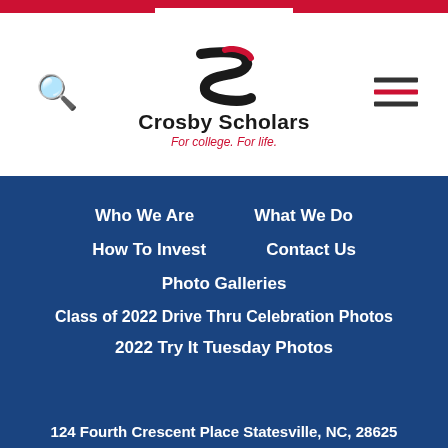[Figure (logo): Crosby Scholars logo with stylized S mark, text 'Crosby Scholars' and tagline 'For college. For life.']
Who We Are
What We Do
How To Invest
Contact Us
Photo Galleries
Class of 2022 Drive Thru Celebration Photos
2022 Try It Tuesday Photos
124 Fourth Crescent Place Statesville, NC, 28625